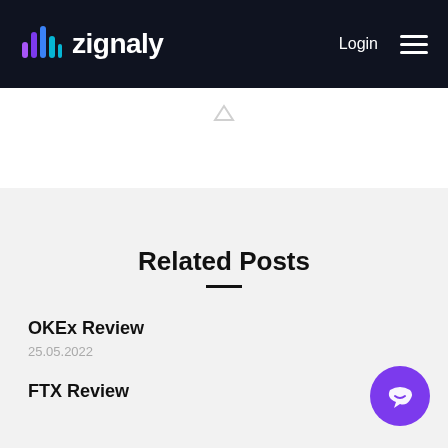zignaly  Login
Related Posts
OKEx Review
25.05.2022
FTX Review